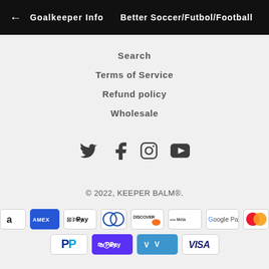← Goalkeeper Info  Better Soccer/Futbol/Football
Search
Terms of Service
Refund policy
Wholesale
[Figure (other): Social media icons: Twitter, Facebook, Instagram, YouTube]
© 2022, KEEPER BALM®.
[Figure (other): Payment method logos: Amazon, Amex, Apple Pay, Diners Club, Discover, Meta Pay, Google Pay, Mastercard, PayPal, Shop Pay, Venmo, Visa]